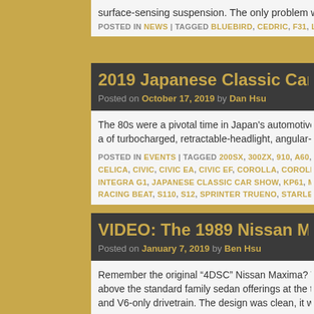surface-sensing suspension. The only problem with that …
POSTED IN NEWS | TAGGED BLUEBIRD, CEDRIC, F31, LEOPARD, MAXI...
2019 Japanese Classic Car Show, Part O...
Posted on October 17, 2019 by Dan Hsu
The 80s were a pivotal time in Japan's automotive history, a... a of turbocharged, retractable-headlight, angular-bodied ma...
POSTED IN EVENTS | TAGGED 200SX, 300ZX, 910, A60, ACCORD, ACCO... CELICA, CIVIC, CIVIC EA, CIVIC EF, COROLLA, COROLLA LEVIN, CRESS... INTEGRA G1, JAPANESE CLASSIC CAR SHOW, KP61, MAXIMA, MAZDA,... RACING BEAT, S110, S12, SPRINTER TRUENO, STARLET, SUNNY, TOYO...
VIDEO: The 1989 Nissan Maxima was p...
Posted on January 7, 2019 by Ben Hsu
Remember the original “4DSC” Nissan Maxima? The so-call... above the standard family sedan offerings at the time. It tem... and V6-only drivetrain. The design was clean, it was tossabl...
POSTED IN VIDEO | TAGGED J30, MAXIMA, MOTORWEEK, NISSAN |